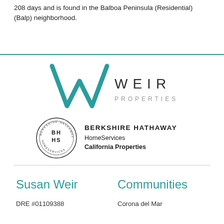208 days and is found in the Balboa Peninsula (Residential) (Balp) neighborhood.
[Figure (logo): Weir Properties logo — large teal W mark with 'WEIR' in spaced dark letters and 'PROPERTIES' in spaced gray letters below]
[Figure (logo): Berkshire Hathaway HomeServices California Properties logo — circular BH HS emblem with full text to the right]
Susan Weir
Communities
DRE #01109388
Corona del Mar